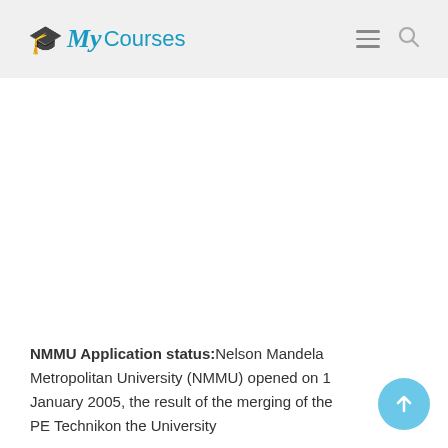My Courses
NMMU Application status: Nelson Mandela Metropolitan University (NMMU) opened on 1 January 2005, the result of the merging of the PE Technikon the University